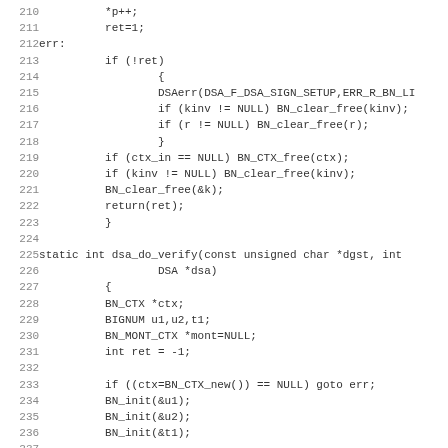[Figure (screenshot): Source code listing in monospace font showing C code for DSA sign/verify functions, lines 210-242]